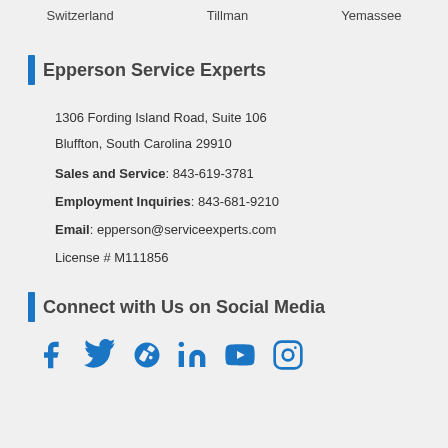Switzerland    Tillman    Yemassee
Epperson Service Experts
1306 Fording Island Road, Suite 106
Bluffton, South Carolina 29910
Sales and Service: 843-619-3781
Employment Inquiries: 843-681-9210
Email: epperson@serviceexperts.com
License # M111856
Connect with Us on Social Media
[Figure (other): Social media icons: Facebook, Twitter, Yelp, LinkedIn, YouTube, Instagram]